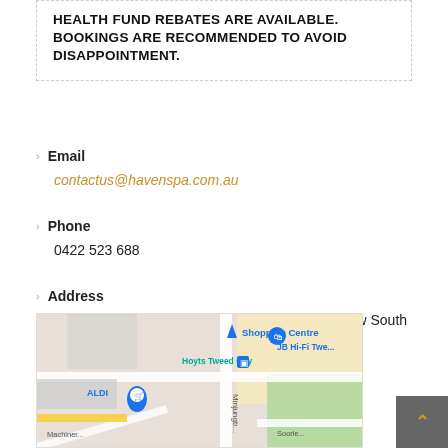HEALTH FUND REBATES ARE AVAILABLE. BOOKINGS ARE RECOMMENDED TO AVOID DISAPPOINTMENT.
Email
contactus@havenspa.com.au
Phone
0422 523 688
Address
5/131 Minjungbal Drive, Tweed Heads South, New South Wales, Australia
[Figure (map): Google Maps view showing Shopping Centre area with Hoyts Tweed City, JB Hi-Fi Tweed, ALDI, and Minjungbal Drive label visible]